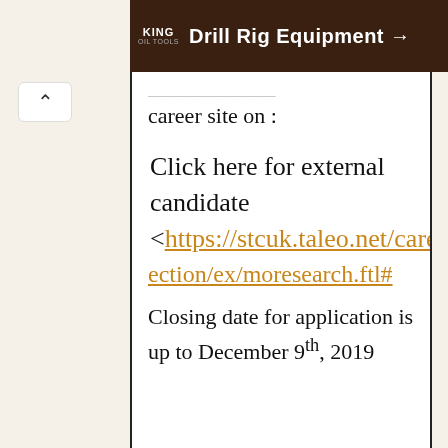[Figure (other): King Oil Tools advertisement banner for Drill Rig Equipment with dark brown background]
career site on :
Click here for external candidate <https://stcuk.taleo.net/careersection/ex/moresearch.ftl#
Closing date for application is up to December 9th, 2019